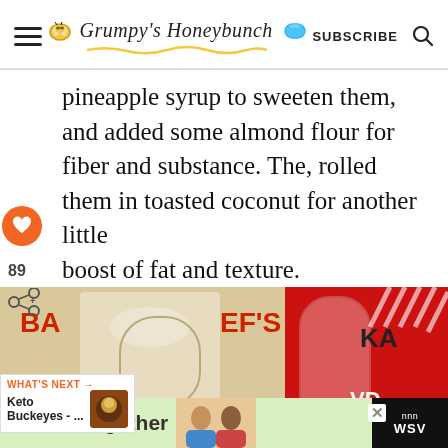Grumpy's Honeybunch — SUBSCRIBE
pineapple syrup to sweeten them, and added some almond flour for fiber and substance. The, rolled them in toasted coconut for another little boost of fat and texture.
[Figure (photo): Photo of glass bottles/jars with product labels including partial text 'BA', 'EF'S', 'KAN'. A 'What's Next' overlay shows Keto Buckeyes.]
[Figure (screenshot): Advertisement banner: #AloneTogether with image of people and WSV logo]